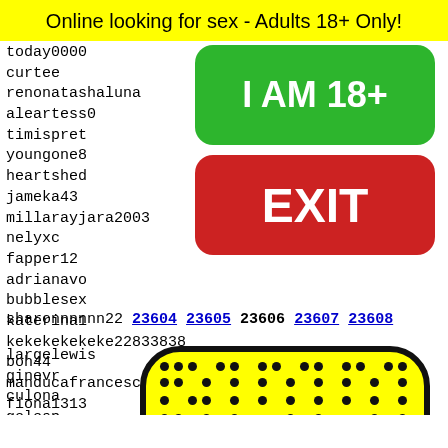Online looking for sex - Adults 18+ Only!
today0000
curtee
renonatashaluna
aleartess0
timispret
youngone8
heartshed
jameka43
millarayjara2003
nelyxc
fapper12
adrianavo
bubblesex
katerina1
kekekekekeke22833838
boh44
manducafrancesca2005
fiona1313
sharonnnnnn22
23604 23605 23606 23607 23608
largelewis
ginevr
culona
gelesp
jasren
TRANNY
alllle
[Figure (illustration): Yellow rounded rectangle with black border and dot grid pattern, resembling an emoji face with smile]